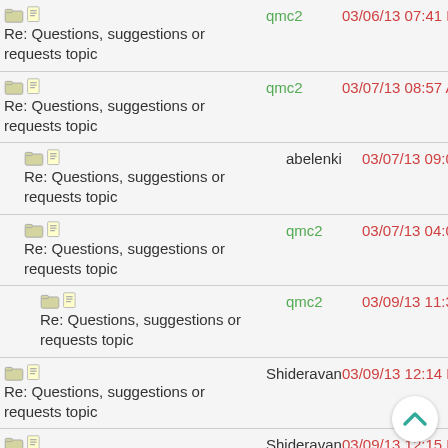Re: Questions, suggestions or requests topic | qmc2 | 03/06/13 07:41 PM
Re: Questions, suggestions or requests topic | qmc2 | 03/07/13 08:57 AM
Re: Questions, suggestions or requests topic | abelenki | 03/07/13 09:00 AM
Re: Questions, suggestions or requests topic | qmc2 | 03/07/13 04:00 PM
Re: Questions, suggestions or requests topic | qmc2 | 03/09/13 11:39 AM
Re: Questions, suggestions or requests topic | Shideravan | 03/09/13 12:14 PM
Re: Questions, suggestions or requests topic | Shideravan | 03/09/13 12:15 PM
Re: Questions, suggestions or requests topic | qmc2 | 03/09/13 12:31 PM
Re: Questions, suggestions or requests topic | qmc2 | 03/09/13 12:49 PM